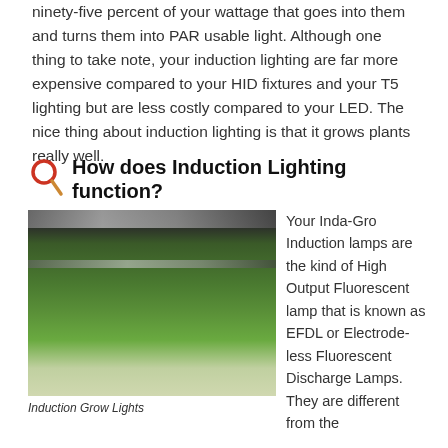ninety-five percent of your wattage that goes into them and turns them into PAR usable light. Although one thing to take note, your induction lighting are far more expensive compared to your HID fixtures and your T5 lighting but are less costly compared to your LED. The nice thing about induction lighting is that it grows plants really well.
How does Induction Lighting function?
[Figure (photo): Indoor grow room with induction grow lights illuminating rows of leafy green lettuce plants on white hydroponic trays]
Induction Grow Lights
Your Inda-Gro Induction lamps are the kind of High Output Fluorescent lamp that is known as EFDL or Electrode-less Fluorescent Discharge Lamps. They are different from the